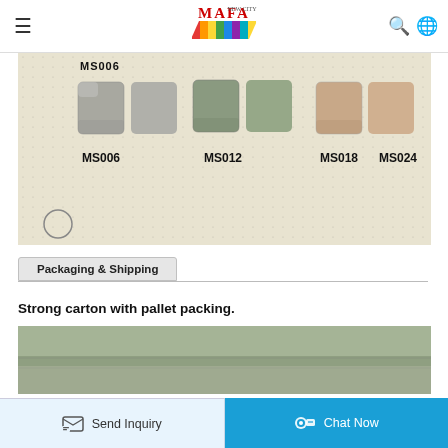MaFa — Navigation bar with hamburger menu, search, and globe icons
[Figure (photo): Product color samples on grid paper showing pairs of small square stone/material chips labeled MS006 (grey), MS012 (green-grey), MS018 (beige-pink), MS024 (peach). The text 'MS006' shows partially at top left.]
Packaging & Shipping
Strong carton with pallet packing.
[Figure (photo): Partial view of pallet packaging — grey/green surface, appears to be a wrapped pallet or carton on a pallet.]
Send Inquiry | Chat Now